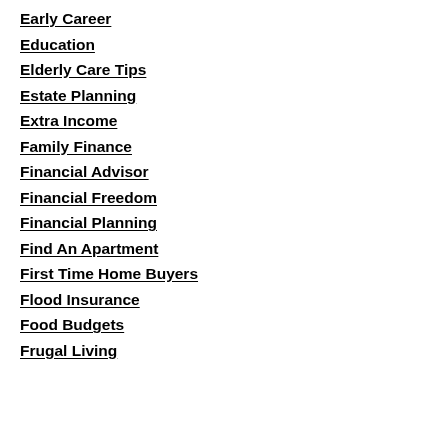Early Career
Education
Elderly Care Tips
Estate Planning
Extra Income
Family Finance
Financial Advisor
Financial Freedom
Financial Planning
Find An Apartment
First Time Home Buyers
Flood Insurance
Food Budgets
Frugal Living